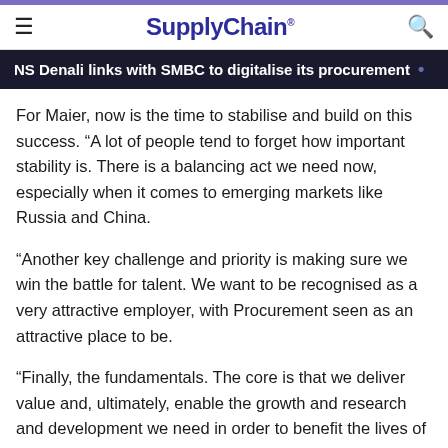SupplyChain.
NS Denali links with SMBC to digitalise its procurement
For Maier, now is the time to stabilise and build on this success. “A lot of people tend to forget how important stability is. There is a balancing act we need now, especially when it comes to emerging markets like Russia and China.
“Another key challenge and priority is making sure we win the battle for talent. We want to be recognised as a very attractive employer, with Procurement seen as an attractive place to be.
“Finally, the fundamentals. The core is that we deliver value and, ultimately, enable the growth and research and development we need in order to benefit the lives of our patients. It all goes back to the patient again.”